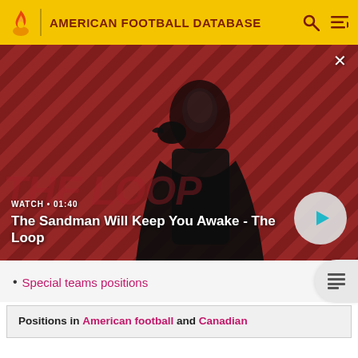AMERICAN FOOTBALL DATABASE
[Figure (screenshot): Video thumbnail with dark-themed promotional image showing a pale figure in black with a raven, on a red diagonal-striped background. Text overlay reads WATCH • 01:40 and title The Sandman Will Keep You Awake - The Loop. Play button visible bottom right.]
Special teams positions
| Positions in American football and Canadian |